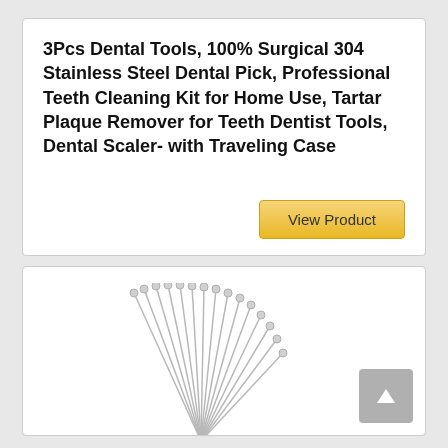3Pcs Dental Tools, 100% Surgical 304 Stainless Steel Dental Pick, Professional Teeth Cleaning Kit for Home Use, Tartar Plaque Remover for Teeth Dentist Tools, Dental Scaler- with Traveling Case
[Figure (screenshot): A golden 'View Product' button]
[Figure (photo): Bottom card showing a fan arrangement of silver dental pick pins/tools spread out in a semicircle pattern with ball tips, photographed on white background. A gray scroll-to-top button with an upward arrow is in the bottom right.]